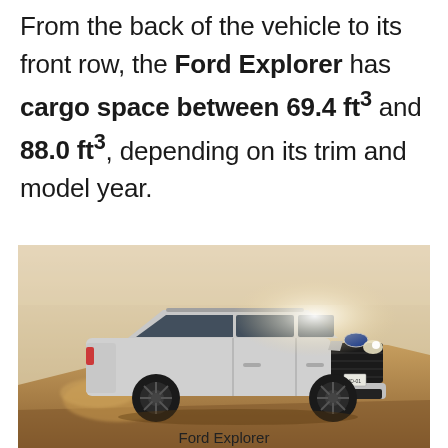From the back of the vehicle to its front row, the Ford Explorer has cargo space between 69.4 ft³ and 88.0 ft³, depending on its trim and model year.
[Figure (photo): A silver Ford Explorer SUV with black wheels driving on a sandy/dusty hillside terrain, photographed from a low front-three-quarter angle with bright backlighting creating a hazy atmosphere.]
Ford Explorer